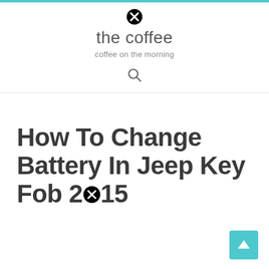the coffee
coffee on the morning
How To Change Battery In Jeep Key Fob 2015